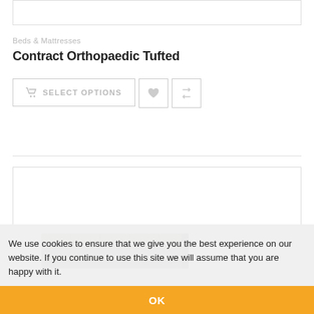[Figure (other): Top cropped product image placeholder box]
Beds & Mattresses
Contract Orthopaedic Tufted
SELECT OPTIONS (button with cart icon, heart icon, compare icon)
[Figure (photo): Partial photo of a tufted orthopaedic mattress in grey fabric]
We use cookies to ensure that we give you the best experience on our website. If you continue to use this site we will assume that you are happy with it.
OK